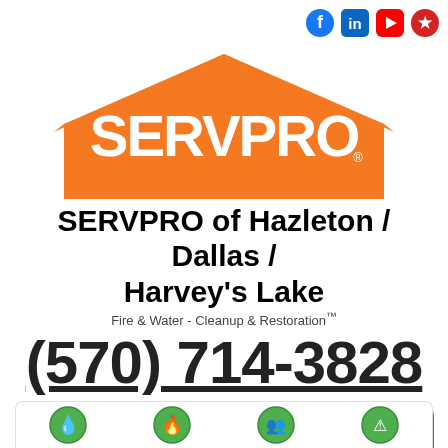[Figure (logo): SERVPRO logo: orange house/roof shape with white SERVPRO text and registered trademark symbol]
SERVPRO of Hazleton / Dallas / Harvey's Lake
Fire & Water - Cleanup & Restoration™
(570) 714-3828
[Figure (infographic): REQUEST HELP ONLINE button with computer monitor icon]
[Figure (infographic): Green hamburger menu button]
[Figure (infographic): Bottom navigation bar with four circular service icons]